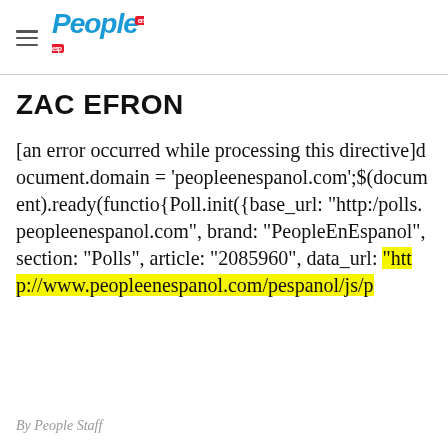People
ZAC EFRON
[an error occurred while processing this directive]document.domain = 'peopleenespanol.com';$(document).ready(function(){Poll.init({base_url: "http:/polls.peopleenespanol.com", brand: "PeopleEnEspanol", section: "Polls", article: "2085960", data_url: "http://www.peopleenespanol.com/pespanol/js/p
By People Staff